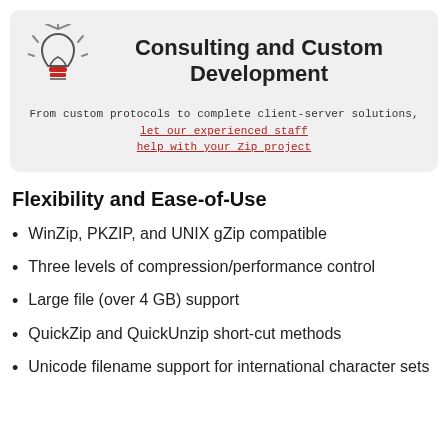[Figure (illustration): Light bulb icon with red base and rays indicating brightness]
Consulting and Custom Development
From custom protocols to complete client-server solutions, let our experienced staff help with your Zip project
Flexibility and Ease-of-Use
WinZip, PKZIP, and UNIX gZip compatible
Three levels of compression/performance control
Large file (over 4 GB) support
QuickZip and QuickUnzip short-cut methods
Unicode filename support for international character sets